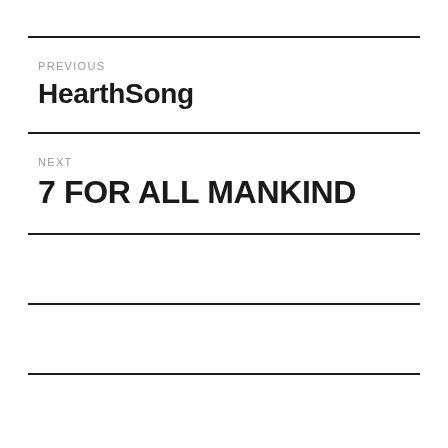PREVIOUS
HearthSong
NEXT
7 FOR ALL MANKIND